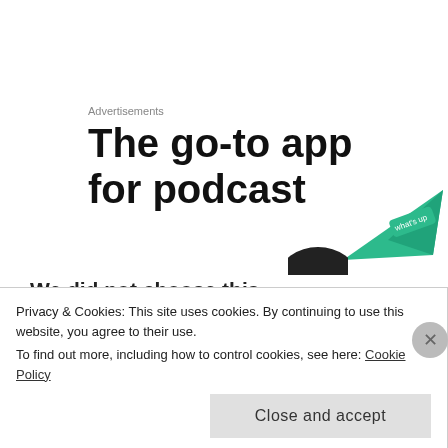Advertisements
[Figure (screenshot): Advertisement banner showing large bold text 'The go-to app for podcast' with a green triangular graphic element on the right side]
We did not choose this.
A set of conditions under which we could effectively control outbreaks has been wrenched away from us. Other
Privacy & Cookies: This site uses cookies. By continuing to use this website, you agree to their use. To find out more, including how to control cookies, see here: Cookie Policy
Close and accept